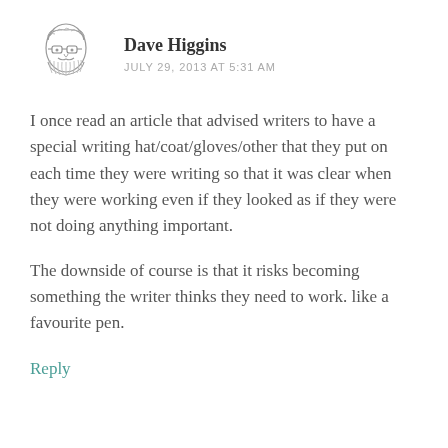[Figure (illustration): Small hand-drawn sketch/avatar of a bearded man with glasses]
Dave Higgins
JULY 29, 2013 AT 5:31 AM
I once read an article that advised writers to have a special writing hat/coat/gloves/other that they put on each time they were writing so that it was clear when they were working even if they looked as if they were not doing anything important.
The downside of course is that it risks becoming something the writer thinks they need to work. like a favourite pen.
Reply